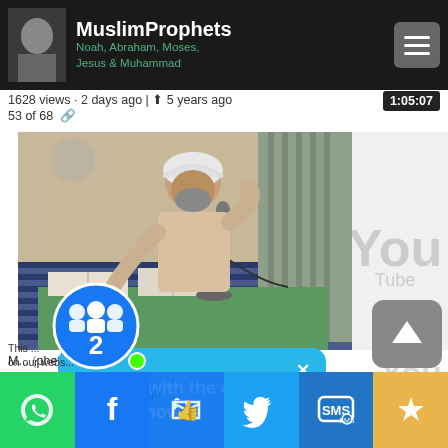MuslimProphets — Noah, Abraham, Moses, Jesus & Muhammad
1628 views · 2 days ago | ⬆ 5 years ago
53 of 68 🔗
1:05:07
[Figure (photo): Video thumbnail showing a man in white turban speaking at a microphone with open books on a green table in a mosque setting]
M...(phets) - Hasan Ali 8/13
⚡ Chat with the other visitors now
You
2 · 2 hrs ago | ⬆ 5 years ago
This ... on our webs...
WhatsApp | Facebook | Like | Twitter | SMS | Crown